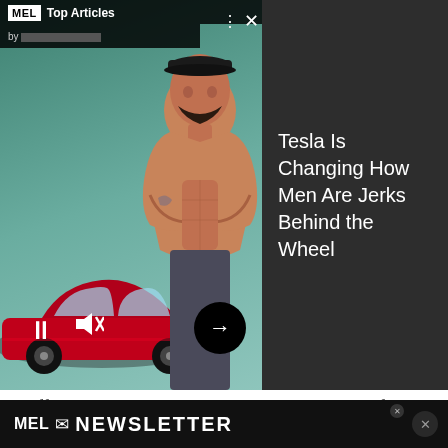[Figure (screenshot): Video overlay with MEL Top Articles header, red Tesla car on left, shirtless muscular man in center, dark right panel with article title 'Tesla Is Changing How Men Are Jerks Behind the Wheel', video playback controls (pause, mute, arrow button), and close/menu icons]
officials and parents laid in hard on McDonald's for peddling poison to children, forcing them to add apple slices and get rid of soda in those same meals.
I don't really care if children don't get cheeseburgers in Happy Meal form anymore. If they never taste it, they'll never associate its warped appeal with the most positive memories of
MEL NEWSLETTER